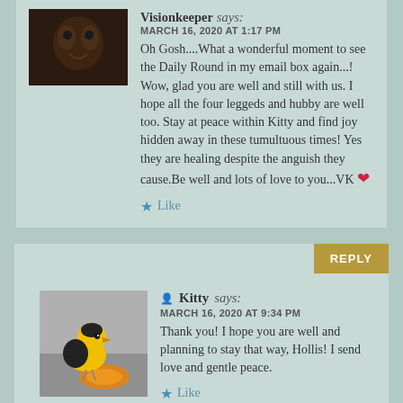Visionkeeper says: MARCH 16, 2020 AT 1:17 PM
Oh Gosh....What a wonderful moment to see the Daily Round in my email box again...! Wow, glad you are well and still with us. I hope all the four leggeds and hubby are well too. Stay at peace within Kitty and find joy hidden away in these tumultuous times! Yes they are healing despite the anguish they cause.Be well and lots of love to you...VK ❤
Like
Kitty says: MARCH 16, 2020 AT 9:34 PM
Thank you! I hope you are well and planning to stay that way, Hollis! I send love and gentle peace.
Like